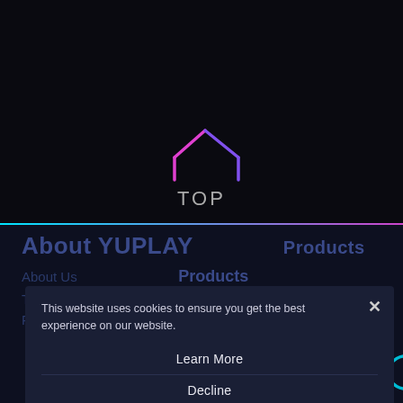[Figure (screenshot): Dark website background with a stylized house/chevron logo icon in pink and purple gradient lines forming a rooftop shape, with 'TOP' text below it in gray, centered in the upper dark area]
[Figure (screenshot): Cookie consent modal overlay on a dark gaming website (appears to be Ubisoft/YuPlay). Modal contains text 'This website uses cookies to ensure you get the best experience on our website.' with buttons: 'Learn More', 'Decline', 'Allow All'. Background shows partially visible navigation with 'About YUPLAY Products', 'About Us', and 'Steam Titles' text. Ubisoft logo visible in bottom-right corner.]